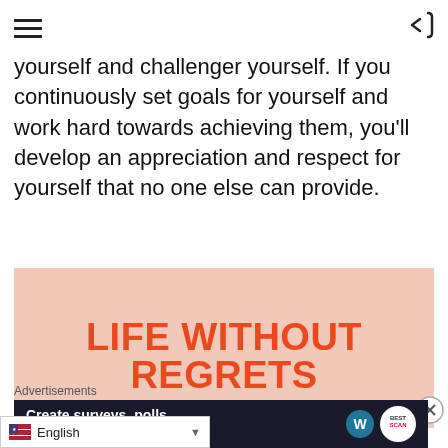navigation header with hamburger menu and back arrow
Always keep moving forward. Set goals for yourself and challenger yourself. If you continuously set goals for yourself and work hard towards achieving them, you'll develop an appreciation and respect for yourself that no one else can provide.
[Figure (infographic): Salmon/peach colored rectangle with large orange bold uppercase text 'LIFE WITHOUT REGRETS' and partial italic quote text 'Our biggest regrets are not for the things we']
Advertisements
[Figure (screenshot): Dark navy blue advertisement banner reading 'Create surveys, polls, quizzes, and forms.' with WordPress logo and another logo on the right]
English